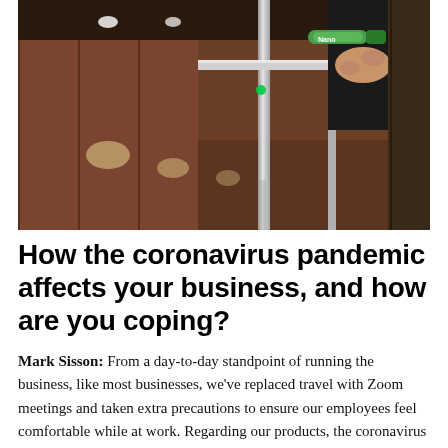[Figure (photo): A photograph of a person's hand holding a cleaning or sanitizing product (appears to be a Nano-branded item) near a metal railing or rail in what looks like an indoor corridor or lobby with wooden walls and ceiling lights reflected on the floor.]
How the coronavirus pandemic affects your business, and how are you coping?
Mark Sisson: From a day-to-day standpoint of running the business, like most businesses, we've replaced travel with Zoom meetings and taken extra precautions to ensure our employees feel comfortable while at work. Regarding our products, the coronavirus pandemic has made everyone more mindful of hygiene and cleanliness,